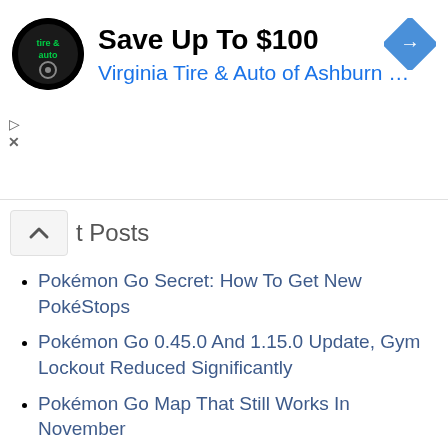[Figure (other): Advertisement banner for Virginia Tire & Auto of Ashburn with logo, title 'Save Up To $100', subtitle 'Virginia Tire & Auto of Ashburn ...', navigation icon, play and close controls]
Posts
Pokémon Go Secret: How To Get New PokéStops
Pokémon Go 0.45.0 And 1.15.0 Update, Gym Lockout Reduced Significantly
Pokémon Go Map That Still Works In November
Ditto And Gen 2 Pokémon Found In Pokémon Go Update
Pokémon Go Lapras Event Launched In Japan